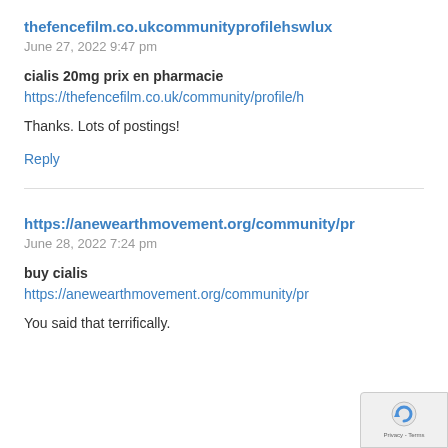thefencefilm.co.ukcommunityprofilehswlux
June 27, 2022 9:47 pm
cialis 20mg prix en pharmacie
https://thefencefilm.co.uk/community/profile/h
Thanks. Lots of postings!
Reply
https://anewearthmovement.org/community/pr
June 28, 2022 7:24 pm
buy cialis
https://anewearthmovement.org/community/pr
You said that terrifically.